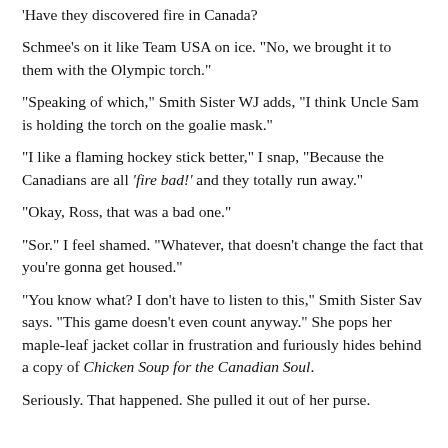'Have they discovered fire in Canada?'
Schmee's on it like Team USA on ice. "No, we brought it to them with the Olympic torch."
"Speaking of which," Smith Sister WJ adds, "I think Uncle Sam is holding the torch on the goalie mask."
"I like a flaming hockey stick better," I snap, "Because the Canadians are all 'fire bad!' and they totally run away."
"Okay, Ross, that was a bad one."
"Sor." I feel shamed. "Whatever, that doesn't change the fact that you're gonna get housed."
"You know what? I don't have to listen to this," Smith Sister Sav says. "This game doesn't even count anyway." She pops her maple-leaf jacket collar in frustration and furiously hides behind a copy of Chicken Soup for the Canadian Soul.
Seriously. That happened. She pulled it out of her purse.